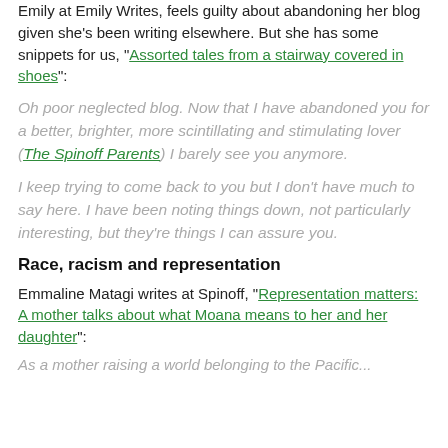Emily at Emily Writes, feels guilty about abandoning her blog given she's been writing elsewhere. But she has some snippets for us, "Assorted tales from a stairway covered in shoes":
Oh poor neglected blog. Now that I have abandoned you for a better, brighter, more scintillating and stimulating lover (The Spinoff Parents) I barely see you anymore.
I keep trying to come back to you but I don't have much to say here. I have been noting things down, not particularly interesting, but they're things I can assure you.
Race, racism and representation
Emmaline Matagi writes at Spinoff, "Representation matters: A mother talks about what Moana means to her and her daughter":
As a mother raising a world belonging to the Pacific...